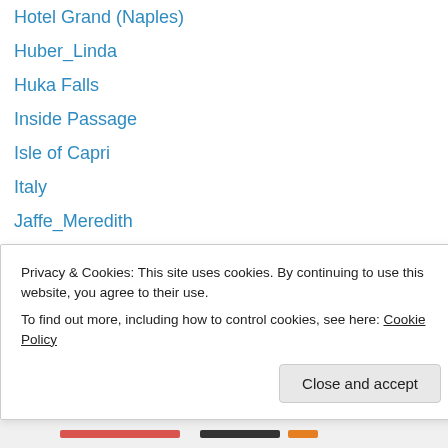Hotel Grand (Naples)
Huber_Linda
Huka Falls
Inside Passage
Isle of Capri
Italy
Jaffe_Meredith
Jane-Caro
Jasper National Park
Jenoff_Pam
Jerringot Wetlands
Jo's Monday Walk
Johnstone_Doug
Jordan_Sherryl
Privacy & Cookies: This site uses cookies. By continuing to use this website, you agree to their use. To find out more, including how to control cookies, see here: Cookie Policy
Close and accept